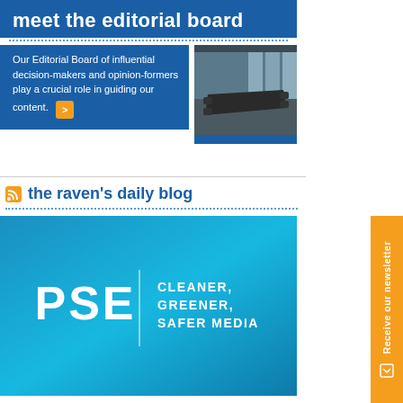meet the editorial board
Our Editorial Board of influential decision-makers and opinion-formers play a crucial role in guiding our content.
[Figure (photo): A modern conference room with a long table and chairs, viewed from above/angle, with large windows in the background]
the raven's daily blog
[Figure (logo): PSE logo with tagline: CLEANER, GREENER, SAFER MEDIA on a blue gradient background]
Receive our newsletter